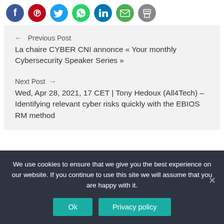[Figure (other): Row of social media share icons: Facebook (blue), Pinterest (red), Twitter (light blue), WhatsApp (green), LinkedIn (blue), Email (green), Print (gray)]
← Previous Post
La chaire CYBER CNI annonce « Your monthly Cybersecurity Speaker Series »
Next Post →
Wed, Apr 28, 2021, 17 CET | Tony Hedoux (All4Tech) – Identifying relevant cyber risks quickly with the EBIOS RM method
We use cookies to ensure that we give you the best experience on our website. If you continue to use this site we will assume that you are happy with it.
Ok
Privacy policy